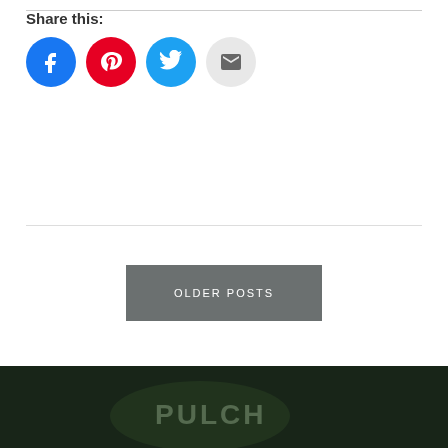Share this:
[Figure (infographic): Four social sharing icon buttons: Facebook (blue circle), Pinterest (red circle), Twitter (blue circle), Email (gray circle)]
OLDER POSTS
[Figure (photo): Dark photo strip at bottom showing people wearing hats with text 'PULCH' visible, dimly lit scene]